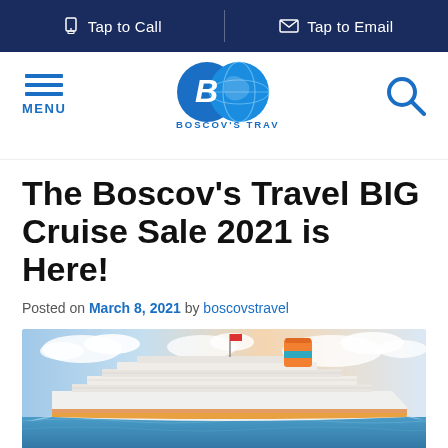Tap to Call | Tap to Email
[Figure (logo): Boscov's Travel logo — two overlapping blue circles with stylized B and globe, text BOSCOV'S TRAVEL below]
The Boscov's Travel BIG Cruise Sale 2021 is Here!
Posted on March 8, 2021 by boscovstravel
[Figure (photo): Large cruise ship sailing on blue ocean water under partly cloudy sky with pastel sunset colors; ship has orange and teal funnel markings]